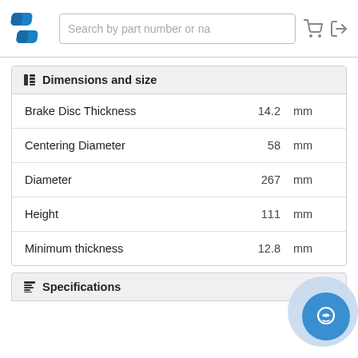[Figure (logo): Blue stylized S-shaped logo]
Search by part number or na
| Property | Value | Unit |
| --- | --- | --- |
| Brake Disc Thickness | 14.2 | mm |
| Centering Diameter | 58 | mm |
| Diameter | 267 | mm |
| Height | 111 | mm |
| Minimum thickness | 12.8 | mm |
Dimensions and size
Specifications